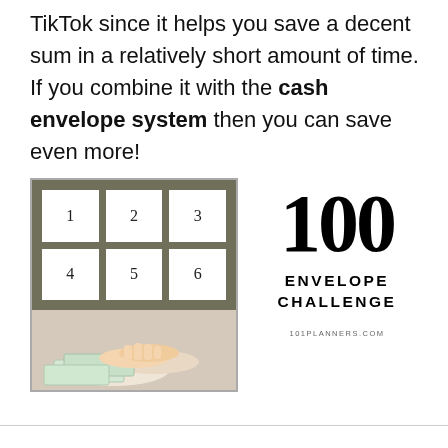TikTok since it helps you save a decent sum in a relatively short amount of time. If you combine it with the cash envelope system then you can save even more!
[Figure (illustration): A graphic showing numbered envelopes (1-6) in a grid on an olive/green background, with a person counting dollar bills below, alongside large bold text reading '100 ENVELOPE CHALLENGE' with '101PLANNERS.COM' at the bottom.]